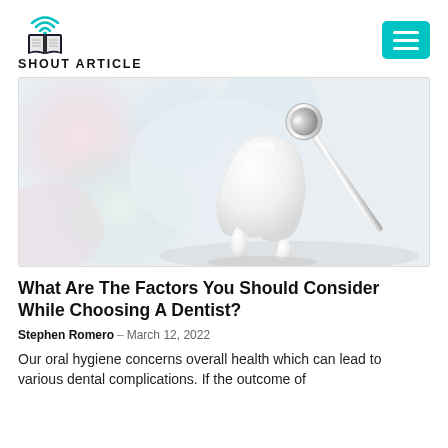[Figure (logo): Shout Article logo: open book with wifi signal arcs above it, and text 'SHOUT ARTICLE' below in bold black capitals]
[Figure (photo): Dental themed hero image showing a white 3D tooth model and a dental mirror tool against a soft bokeh colorful background]
What Are The Factors You Should Consider While Choosing A Dentist?
Stephen Romero - March 12, 2022
Our oral hygiene concerns overall health which can lead to various dental complications. If the outcome of